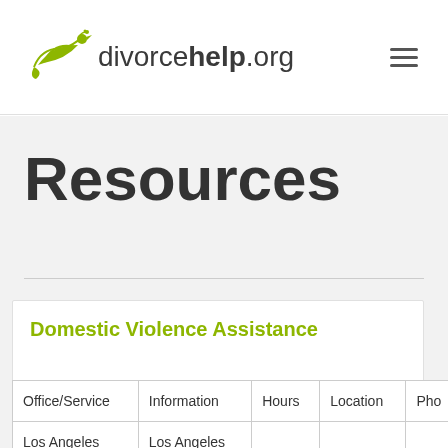divorcehelp.org
Resources
Domestic Violence Assistance
| Office/Service | Information | Hours | Location | Pho... |
| --- | --- | --- | --- | --- |
| Los Angeles | Los Angeles |  |  |  |